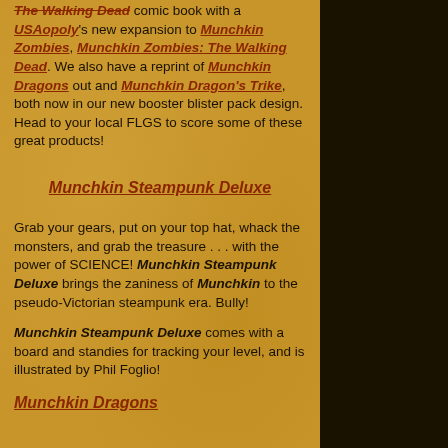The Walking Dead comic book with a USAopoly's new expansion to Munchkin Zombies, Munchkin Zombies: The Walking Dead. We also have a reprint of Munchkin Dragons out and Munchkin Dragon's Trike, both now in our new booster blister pack design. Head to your local FLGS to score some of these great products!
Munchkin Steampunk Deluxe
Grab your gears, put on your top hat, whack the monsters, and grab the treasure . . . with the power of SCIENCE! Munchkin Steampunk Deluxe brings the zaniness of Munchkin to the pseudo-Victorian steampunk era. Bully!
Munchkin Steampunk Deluxe comes with a board and standies for tracking your level, and is illustrated by Phil Foglio!
Munchkin Dragons